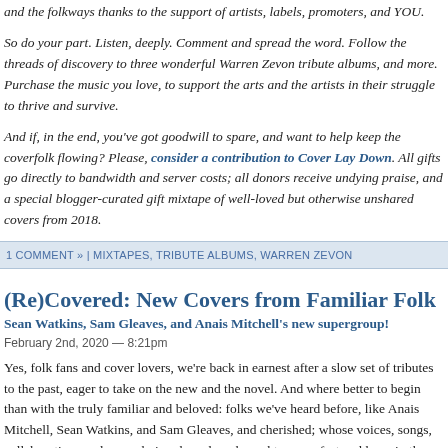and the folkways thanks to the support of artists, labels, promoters, and YOU.
So do your part. Listen, deeply. Comment and spread the word. Follow the threads of discovery to three wonderful Warren Zevon tribute albums, and more. Purchase the music you love, to support the arts and the artists in their struggle to thrive and survive.
And if, in the end, you've got goodwill to spare, and want to help keep the coverfolk flowing? Please, consider a contribution to Cover Lay Down. All gifts go directly to bandwidth and server costs; all donors receive undying praise, and a special blogger-curated gift mixtape of well-loved but otherwise unshared covers from 2018.
1 COMMENT » | MIXTAPES, TRIBUTE ALBUMS, WARREN ZEVON
(Re)Covered: New Covers from Familiar Folk
Sean Watkins, Sam Gleaves, and Anais Mitchell's new supergroup!
February 2nd, 2020 — 8:21pm
Yes, folk fans and cover lovers, we're back in earnest after a slow set of tributes to the past, eager to take on the new and the novel. And where better to begin than with the truly familiar and beloved: folks we've heard before, like Anais Mitchell, Sean Watkins, and Sam Gleaves, and cherished; whose voices, songs, collaborations and song choices have long brought us comfort and hope in the long winter.